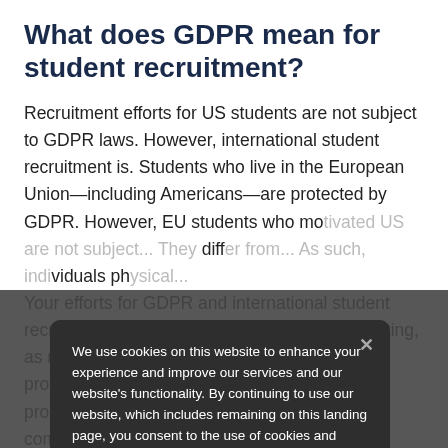What does GDPR mean for student recruitment?
Recruitment efforts for US students are not subject to GDPR laws. However, international student recruitment is. Students who live in the European Union—including Americans—are protected by GDPR. However, EU students who mo... are not subject... They diff... As such, individuals ph...
Your efforts for GDPR and international student recruitment should be considered which marketing, as marketing data also falls under GDPR protection. Yo... ly marketing to prosp... EU, but if one completes an online form and provides data...
We use cookies on this website to enhance your experience and improve our services and our website's functionality. By continuing to use our website, which includes remaining on this landing page, you consent to the use of cookies and agree to our Privacy Policy.
Agree & Continue